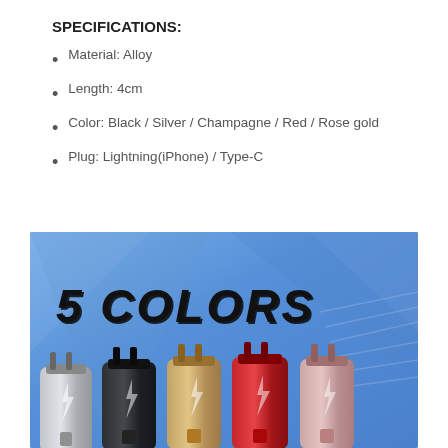SPECIFICATIONS:
Material: Alloy
Length: 4cm
Color: Black / Silver / Champagne / Red / Rose gold
Plug: Lightning(iPhone) / Type-C
[Figure (photo): Product image showing 5 color variants of a small audio adapter/lightning connector dongle — silver, black, champagne/gold, red, and rose gold — arranged side by side on a blue geometric background with large italic text reading '5 COLORS']